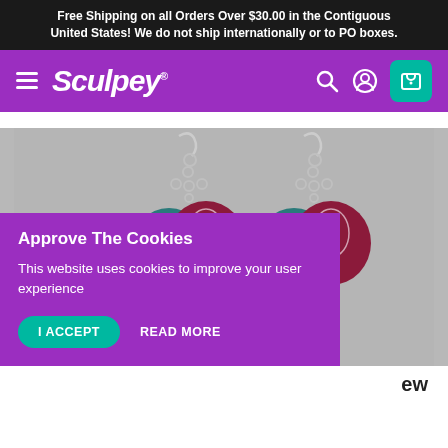Free Shipping on all Orders Over $30.00 in the Contiguous United States! We do not ship internationally or to PO boxes.
Sculpey®
[Figure (photo): Two pairs of decorative earrings with silver chain links, featuring polymer clay charms in teal/dark teal and burgundy/maroon colors with floral designs, and yellow bead accents, photographed against a gray background.]
Approve The Cookies
This website uses cookies to improve your user experience
I ACCEPT
READ MORE
ew